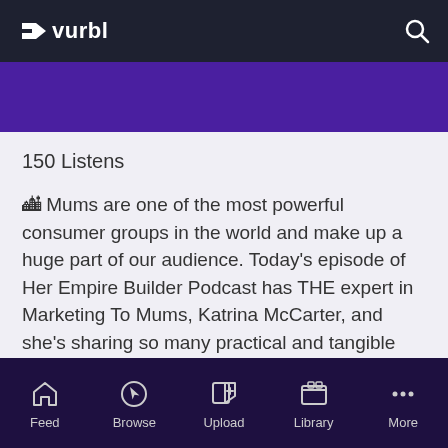vurbl
150 Listens
🎙 Mums are one of the most powerful consumer groups in the world and make up a huge part of our audience. Today's episode of Her Empire Builder Podcast has THE expert in Marketing To Mums, Katrina McCarter, and she's sharing so many practical and tangible marketing tips that you can implement in you
Feed  Browse  Upload  Library  More